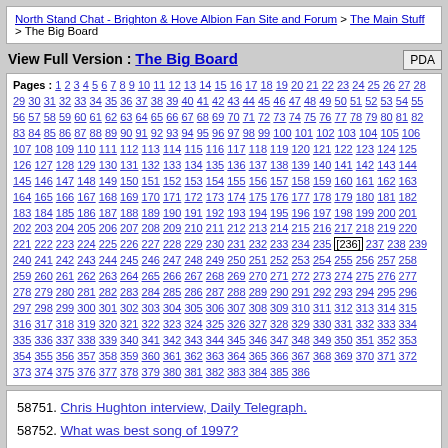North Stand Chat - Brighton & Hove Albion Fan Site and Forum > The Main Stuff > The Big Board
View Full Version : The Big Board
Pages : 1 2 3 4 5 6 7 8 9 10 11 12 ... 386
58751. Chris Hughton interview, Daily Telegraph.
58752. What was best song of 1997?
58753. Midfield four next season
58754. Wingers
58755. 7 Star sport bar at the Amex